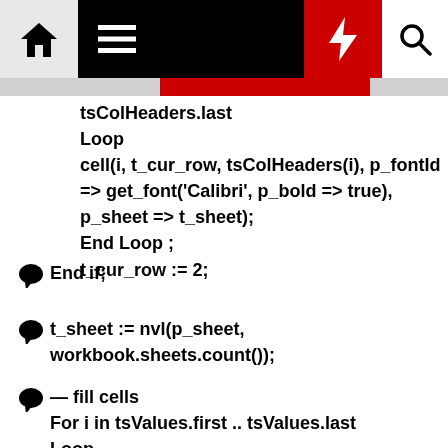[Figure (screenshot): Top navigation bar with home icon, hamburger menu, black spacer, red lightning bolt button, and white search icon]
tsColHeaders.last
Loop
cell(i, t_cur_row, tsColHeaders(i), p_fontId => get_font('Calibri', p_bold => true), p_sheet => t_sheet);
End Loop ;
t_cur_row := 2;
End if;
t_sheet := nvl(p_sheet, workbook.sheets.count();
— fill cells
For i in tsValues.first .. tsValues.last Loop
— check if we must reset col to 1 and go to next line